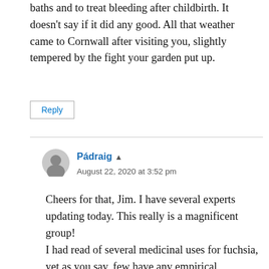baths and to treat bleeding after childbirth. It doesn't say if it did any good. All that weather came to Cornwall after visiting you, slightly tempered by the fight your garden put up.
Reply
Pádraig ▲
August 22, 2020 at 3:52 pm
Cheers for that, Jim. I have several experts updating today. This really is a magnificent group!
I had read of several medicinal uses for fuchsia, yet as you say, few have any empirical evidence…